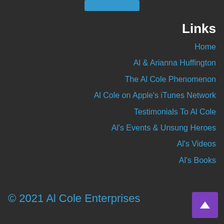[Figure (other): Blue button at top center of page]
Links
Home
Al & Arianna Huffington
The Al Cole Phenomenon
Al Cole on Apple's iTunes Network
Testimonials To Al Cole
Al's Events & Unsung Heroes
Al's Videos
Al's Books
© 2021 Al Cole Enterprises